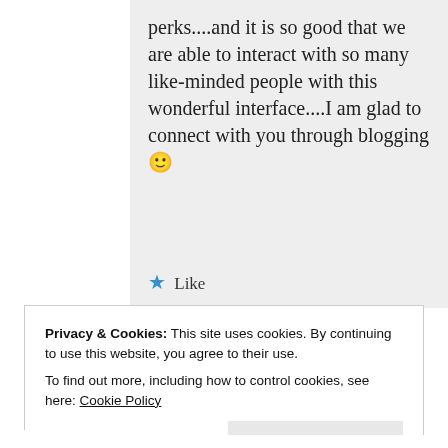perks....and it is so good that we are able to interact with so many like-minded people with this wonderful interface....I am glad to connect with you through blogging 🙂
★ Like
Privacy & Cookies: This site uses cookies. By continuing to use this website, you agree to their use.
To find out more, including how to control cookies, see here: Cookie Policy
Close and accept